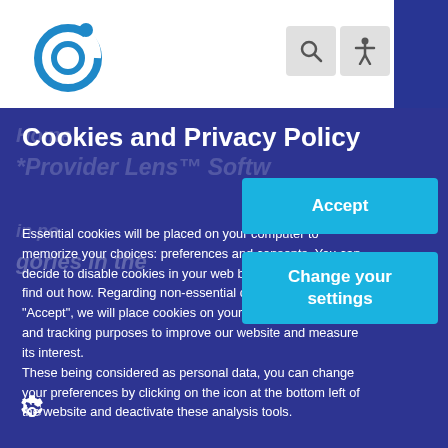[Figure (logo): Circular logo with blue ring and dot on top, with smaller inner circle]
Cookies and Privacy Policy
Essential cookies will be placed on your computer to memorize your choices: preferences and consents. You can decide to disable cookies in your web browser, click here to find out how. Regarding non-essential cookies, if you click on "Accept", we will place cookies on your computer for analysis and tracking purposes to improve our website and measure its interest.
These being considered as personal data, you can change your preferences by clicking on the icon at the bottom left of the website and deactivate these analysis tools.
[Figure (other): Accept button (cyan/teal colored)]
[Figure (other): Change your settings button (cyan/teal colored)]
[Figure (other): Settings gear icon at bottom left]